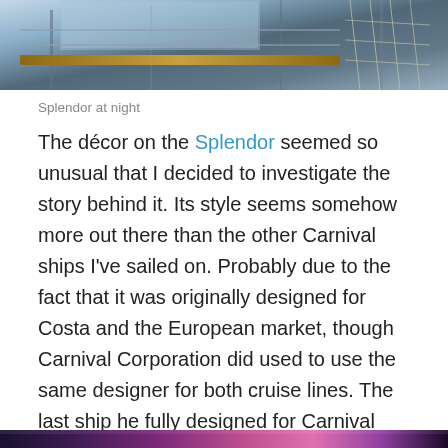[Figure (photo): Top portion of a cruise ship photo showing interior/exterior architectural elements with railings and blue tones]
Splendor at night
The décor on the Splendor seemed so unusual that I decided to investigate the story behind it.  Its style seems somehow more out there than the other Carnival ships I've sailed on.  Probably due to the fact that it was originally designed for Costa and the European market, though Carnival Corporation did used to use the same designer for both cruise lines.  The last ship he fully designed for Carnival was the Dream, but he did have a hand in some spaces on the Magic.  The newer Breeze has a quite different and more modern look with its Caribbean casual décor by Partner Design of Hamburg.
[Figure (photo): Bottom strip of a cruise ship interior/entertainment venue photo with purple and pink lighting]